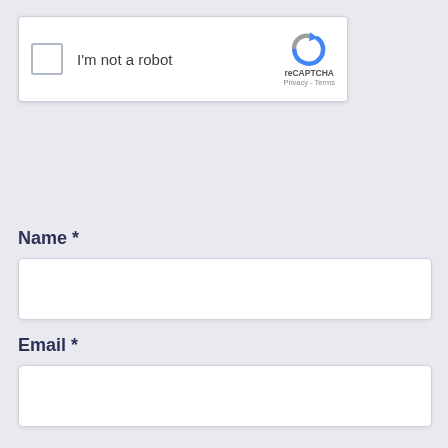[Figure (screenshot): reCAPTCHA widget with checkbox labeled 'I'm not a robot' and reCAPTCHA logo with Privacy - Terms links]
Name *
[Figure (screenshot): Empty text input field for Name]
Email *
[Figure (screenshot): Empty text input field for Email]
Website
[Figure (screenshot): Empty text input field for Website]
Notify me of follow-up comments by email.
[Figure (screenshot): Partial reCAPTCHA widget bottom right showing logo and Privacy - Terms]